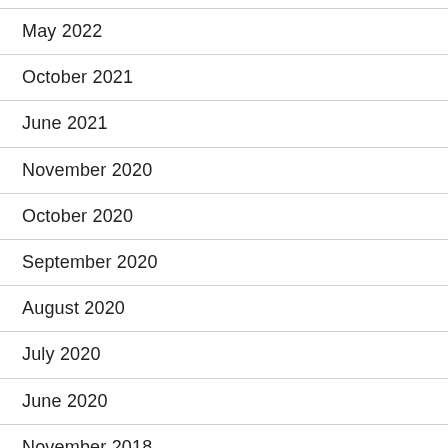May 2022
October 2021
June 2021
November 2020
October 2020
September 2020
August 2020
July 2020
June 2020
November 2018